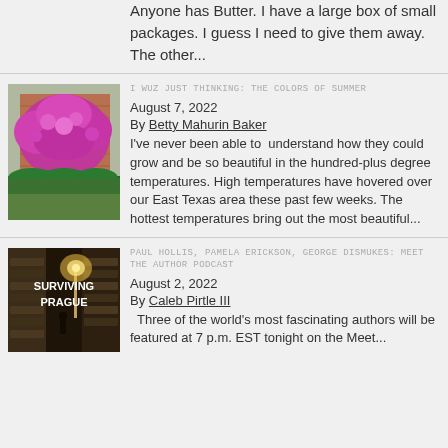Anyone has Butter. I have a large box of small packages. I guess I need to give them away. The other...
[Figure (photo): Photo of a large flowering pink/magenta crape myrtle tree in front of a brick building with manicured hedges]
I WUZ JUST THINKING: THE COLORS OF SUMMER
August 7, 2022
By Betty Mahurin Baker
I've never been able to  understand how they could grow and be so beautiful in the hundred-plus degree temperatures. High temperatures have hovered over our East Texas area these past few weeks. The hottest temperatures bring out the most beautiful...
[Figure (photo): Book cover for 'Surviving Prague' showing a dark nighttime alley with street lamp and a figure walking]
PAUL HOLLIS, PAMELA ERICKSON, GEORGE DISMUKES: MEET THE AUTHOR PODCAST
August 2, 2022
By Caleb Pirtle III
Three of the world's most fascinating authors will be featured at 7 p.m. EST tonight on the Meet...